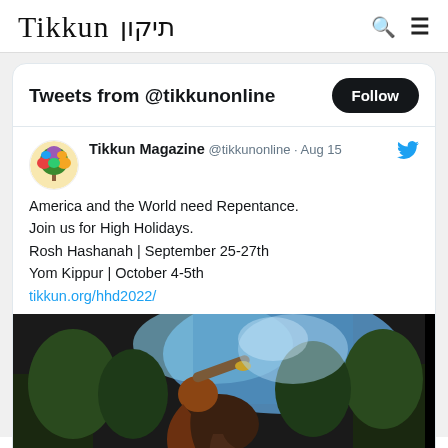Tikkun תיקון
Tweets from @tikkunonline
Tikkun Magazine @tikkunonline · Aug 15
America and the World need Repentance.
Join us for High Holidays.
Rosh Hashanah | September 25-27th
Yom Kippur | October 4-5th
tikkun.org/hhd2022/
[Figure (photo): A person blowing a shofar outdoors among trees, with a blue sky background]